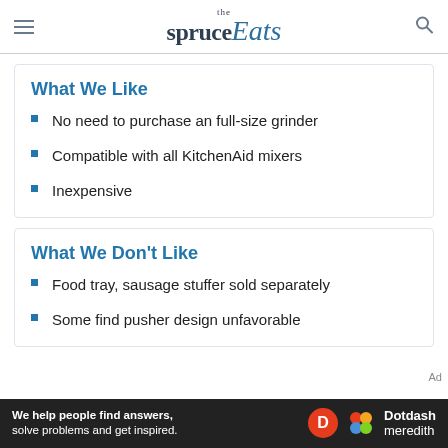the spruce Eats
What We Like
No need to purchase an full-size grinder
Compatible with all KitchenAid mixers
Inexpensive
What We Don't Like
Food tray, sausage stuffer sold separately
Some find pusher design unfavorable
We help people find answers, solve problems and get inspired. Dotdash meredith